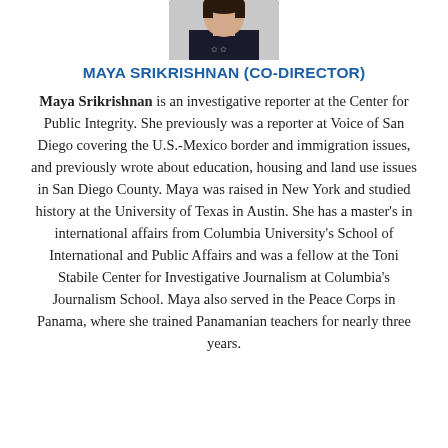[Figure (photo): Headshot photo of Maya Srikrishnan, partially visible, cropped at the top of the page]
MAYA SRIKRISHNAN (CO-DIRECTOR)
Maya Srikrishnan is an investigative reporter at the Center for Public Integrity. She previously was a reporter at Voice of San Diego covering the U.S.-Mexico border and immigration issues, and previously wrote about education, housing and land use issues in San Diego County. Maya was raised in New York and studied history at the University of Texas in Austin. She has a master's in international affairs from Columbia University's School of International and Public Affairs and was a fellow at the Toni Stabile Center for Investigative Journalism at Columbia's Journalism School. Maya also served in the Peace Corps in Panama, where she trained Panamanian teachers for nearly three years.